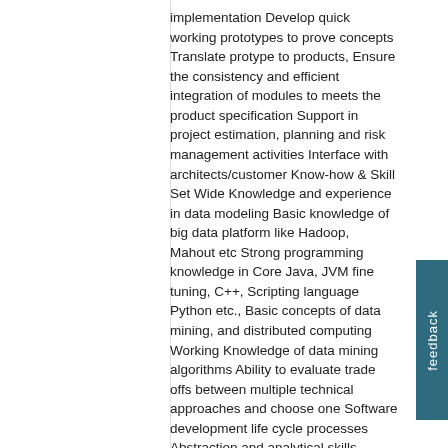implementation Develop quick working prototypes to prove concepts Translate protype to products, Ensure the consistency and efficient integration of modules to meets the product specification Support in project estimation, planning and risk management activities Interface with architects/customer Know-how & Skill Set Wide Knowledge and experience in data modeling Basic knowledge of big data platform like Hadoop, Mahout etc Strong programming knowledge in Core Java, JVM fine tuning, C++, Scripting language Python etc., Basic concepts of data mining, and distributed computing Working Knowledge of data mining algorithms Ability to evaluate trade offs between multiple technical approaches and choose one Software development life cycle processes Abstraction and analytical skills especially statistical Testing, Problem solving and debugging skills Personal attributes Craving for learning new concepts Openness/flexibility to try out different areas/domains in the long run Acumen for Data Analytics Personal Quality & productivity Good communication skills Salary:Not Disclosed by Recruiter Industry:IT-Software / Software Services Functional Area:IT Software - Application Programming, Maintenance Role Category:Programming & Design Role:Software Developer